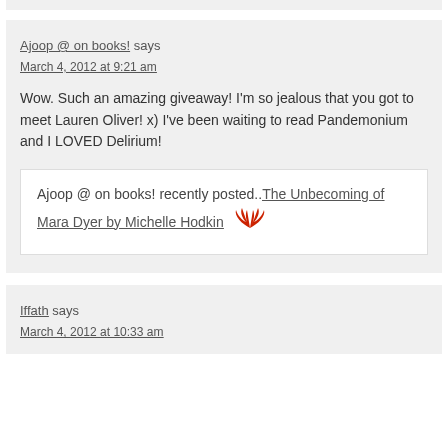Ajoop @ on books! says
March 4, 2012 at 9:21 am
Wow. Such an amazing giveaway! I'm so jealous that you got to meet Lauren Oliver! x) I've been waiting to read Pandemonium and I LOVED Delirium!
Ajoop @ on books! recently posted..The Unbecoming of Mara Dyer by Michelle Hodkin
Iffath says
March 4, 2012 at 10:33 am